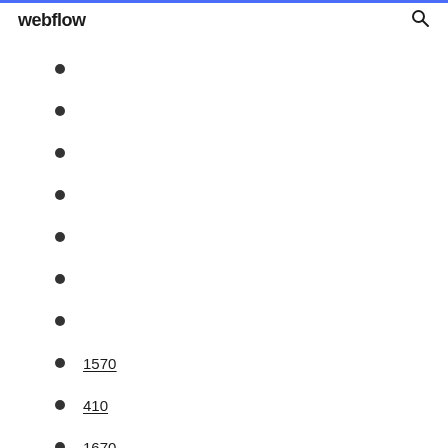webflow
1570
410
1670
439
1004